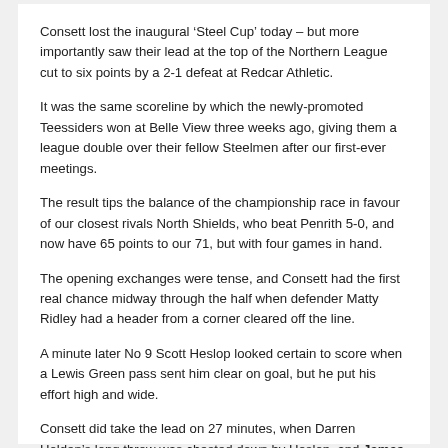Consett lost the inaugural ‘Steel Cup’ today – but more importantly saw their lead at the top of the Northern League cut to six points by a 2-1 defeat at Redcar Athletic.
It was the same scoreline by which the newly-promoted Teessiders won at Belle View three weeks ago, giving them a league double over their fellow Steelmen after our first-ever meetings.
The result tips the balance of the championship race in favour of our closest rivals North Shields, who beat Penrith 5-0, and now have 65 points to our 71, but with four games in hand.
The opening exchanges were tense, and Consett had the first real chance midway through the half when defender Matty Ridley had a header from a corner cleared off the line.
A minute later No 9 Scott Heslop looked certain to score when a Lewis Green pass sent him clear on goal, but he put his effort high and wide.
Consett did take the lead on 27 minutes, when Darren Holden’s long throw was chested down by Heslop, and James Martin fired home from 15 yards.